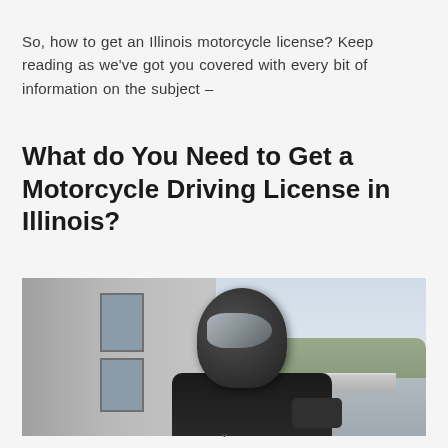So, how to get an Illinois motorcycle license? Keep reading as we've got you covered with every bit of information on the subject –
What do You Need to Get a Motorcycle Driving License in Illinois?
[Figure (photo): A motorcyclist wearing a black helmet and jacket riding a motorcycle, photographed from the side. Background shows a building with windows on the left and trees/road on the right.]